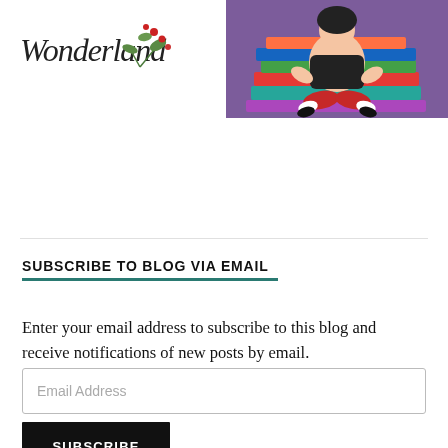[Figure (illustration): Blog logo with cursive text 'Wonderland' and floral decoration on white background, alongside banner illustration of a person sitting cross-legged on books on a purple background]
SUBSCRIBE TO BLOG VIA EMAIL
Enter your email address to subscribe to this blog and receive notifications of new posts by email.
Email Address
SUBSCRIBE